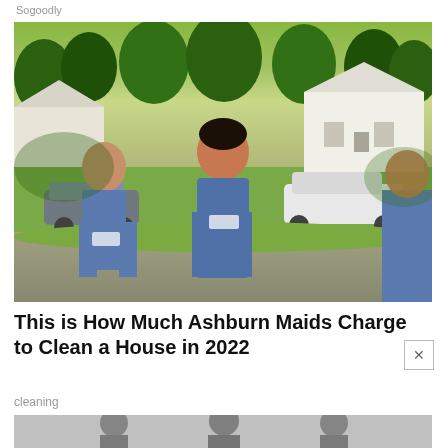Sogoodly
[Figure (photo): Three women in blue uniforms standing outdoors in front of a suburban neighborhood with cars and green trees in the background. They appear to be cleaning service workers.]
This is How Much Ashburn Maids Charge to Clean a House in 2022
cleaning
[Figure (photo): Partially visible second photo showing silhouetted figures, cut off at the bottom of the page.]